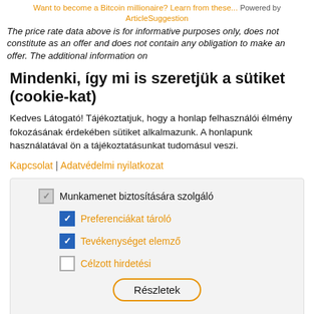Want to become a Bitcoin millionaire? Learn from these...  Powered by ArticleSuggestion
The price rate data above is for informative purposes only, does not constitute as an offer and does not contain any obligation to make an offer. The additional information on...
Mindenki, így mi is szeretjük a sütiket (cookie-kat)
Kedves Látogató! Tájékoztatjuk, hogy a honlap felhasználói élmény fokozásának érdekében sütiket alkalmazunk. A honlapunk használatával ön a tájékoztatásunkat tudomásul veszi.
Kapcsolat | Adatvédelmi nyilatkozat
Munkamenet biztosítására szolgáló
Preferenciákat tároló
Tevékenységet elemző
Célzott hirdetési
Részletek
Elfogadom